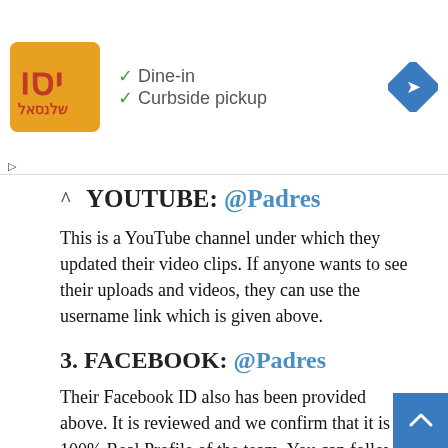[Figure (screenshot): Ad banner with orange logo, dine-in and curbside pickup checkmarks, and blue navigation arrow icon]
YOUTUBE: @Padres
This is a YouTube channel under which they updated their video clips. If anyone wants to see their uploads and videos, they can use the username link which is given above.
3. FACEBOOK: @Padres
Their Facebook ID also has been provided above. It is reviewed and we confirm that it is a 100% Real Profile of the team. You can follow them on their Facebook profile and for that, you can follow the link above.